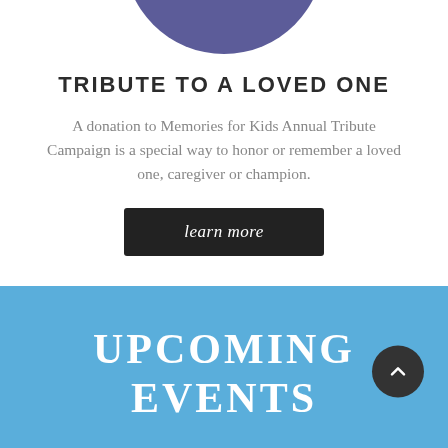[Figure (illustration): Partial view of a purple/indigo circle, cropped at the top of the page, representing a decorative icon]
TRIBUTE TO A LOVED ONE
A donation to Memories for Kids Annual Tribute Campaign is a special way to honor or remember a loved one, caregiver or champion.
learn more
UPCOMING EVENTS